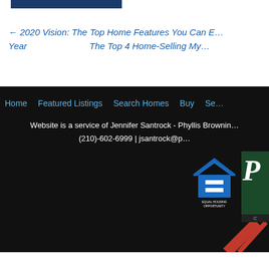[Figure (other): Blue filled rectangle bar at top left]
← 2020 Vision: The Top Home Features You Can E… Year    The Top 4 Home-Selling My…
Home  Featured Listings  Search Homes  Buy  Se…
Website is a service of Jennifer Santrock - Phyllis Brownin…
(210)-602-6999 | jsantrock@p…
[Figure (logo): Equal Housing Opportunity logo]
[Figure (logo): Partially visible logo with red diagonal design on dark background]